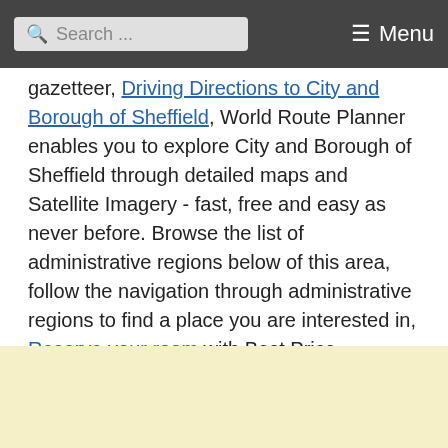Search ... Menu
gazetteer, Driving Directions to City and Borough of Sheffield, World Route Planner enables you to explore City and Borough of Sheffield through detailed maps and Satellite Imagery - fast, free and easy as never before. Browse the list of administrative regions below of this area, follow the navigation through administrative regions to find a place you are interested in, Reserve your room with Best Price Guarantee or Compare Flights to City and Borough of Sheffield.